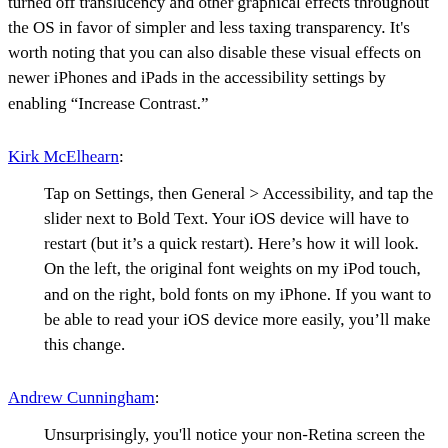turned off translucency and other graphical effects throughout the OS in favor of simpler and less taxing transparency. It's worth noting that you can also disable these visual effects on newer iPhones and iPads in the accessibility settings by enabling “Increase Contrast.”
Kirk McElhearn:
Tap on Settings, then General > Accessibility, and tap the slider next to Bold Text. Your iOS device will have to restart (but it's a quick restart). Here’s how it will look. On the left, the original font weights on my iPod touch, and on the right, bold fonts on my iPhone. If you want to be able to read your iOS device more easily, you’ll make this change.
Andrew Cunningham:
Unsurprisingly, you'll notice your non-Retina screen the most when you’re looking at those light fonts and lines. Take, for example, the passcode entry keypad, where the small letters underneath the numbers look very jagged on the iPad mini, where they’re small-but-smooth